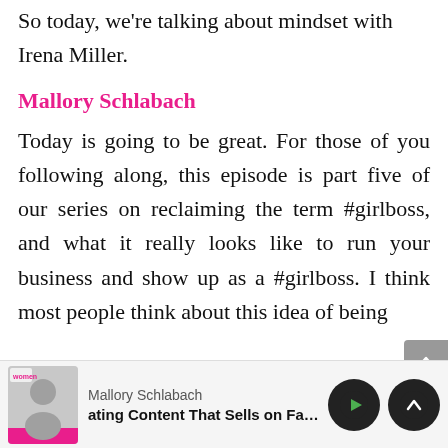So today, we're talking about mindset with Irena Miller.
Mallory Schlabach
Today is going to be great. For those of you following along, this episode is part five of our series on reclaiming the term #girlboss, and what it really looks like to run your business and show up as a #girlboss. I think most people think about this idea of being
[Figure (screenshot): Podcast player bar at bottom showing thumbnail image of Mallory Schlabach, episode title 'ating Content That Sells on Faceboo', play button (green triangle), and up/chevron button (dark circle)]